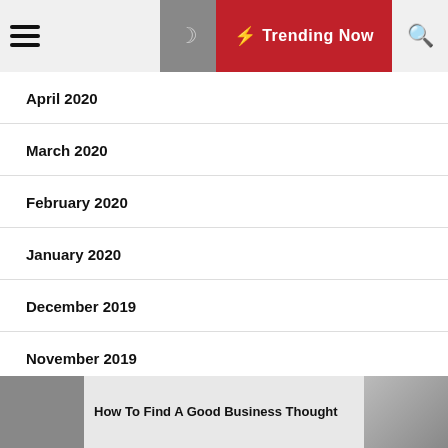Trending Now
April 2020
March 2020
February 2020
January 2020
December 2019
November 2019
October 2019
How To Find A Good Business Thought